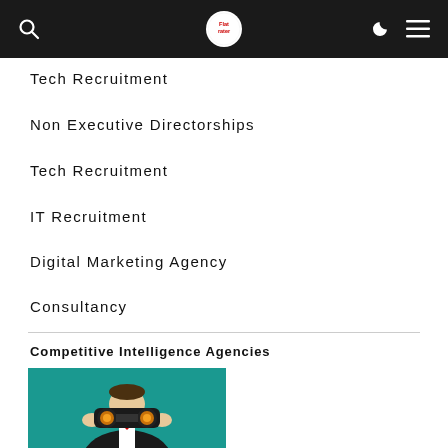Flatrater [logo] navigation header
Tech Recruitment
Non Executive Directorships
Tech Recruitment
IT Recruitment
Digital Marketing Agency
Consultancy
Competitive Intelligence Agencies
[Figure (illustration): Illustration of a person in a suit holding binoculars up to their face, against a teal background, representing competitive intelligence.]